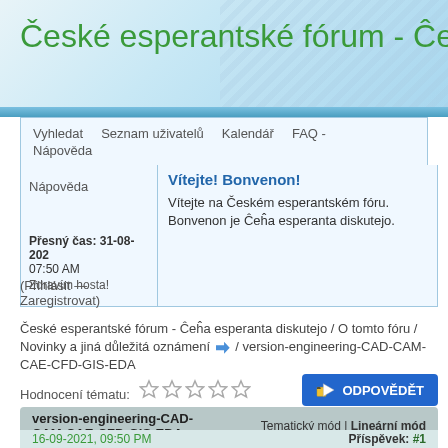České esperantské fórum - Ĉeĥa esperanta diskutejo
Vyhledat | Seznam uživatelů | Kalendář | FAQ - Nápověda
Vítejte! Bonvenon!
Vítejte na Českém esperantském fóru.
Bonvenon je Ĉeĥa esperanta diskutejo.
Přesný čas: 31-08-2021 07:50 AM
Zdravím hosta!
Nápověda
(Přihlásit — Zaregistrovat)
České esperantské fórum - Ĉeĥa esperanta diskutejo / O tomto fóru / Novinky a jiná důležitá oznámení / version-engineering-CAD-CAM-CAE-CFD-GIS-EDA
Hodnocení tématu:
ODPOVĚDĚT
| version-engineering-CAD-CAM-CAE-CFD-GIS-EDA | Tematický mód | Lineární mód |
| --- | --- |
16-09-2021, 09:50 PM
Příspěvek: #1